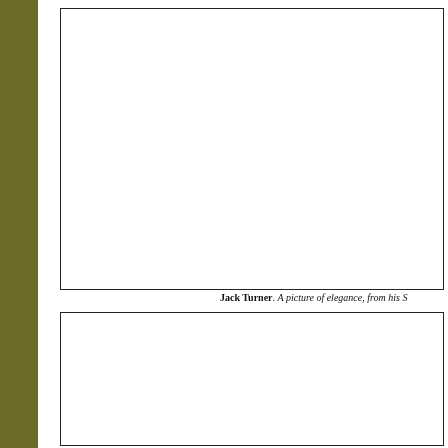[Figure (photo): Top image box — white interior with black border, appears to be a photograph placeholder (image not visible in scan)]
Jack Turner. A picture of elegance, from his S
[Figure (photo): Bottom image box — white interior with black border, appears to be a photograph placeholder (image not visible in scan)]